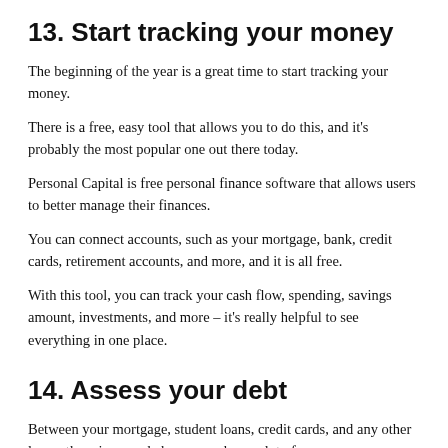13. Start tracking your money
The beginning of the year is a great time to start tracking your money.
There is a free, easy tool that allows you to do this, and it's probably the most popular one out there today.
Personal Capital is free personal finance software that allows users to better manage their finances.
You can connect accounts, such as your mortgage, bank, credit cards, retirement accounts, and more, and it is all free.
With this tool, you can track your cash flow, spending, savings amount, investments, and more – it's really helpful to see everything in one place.
14. Assess your debt
Between your mortgage, student loans, credit cards, and any other loans, there is a good chance you have a lot of